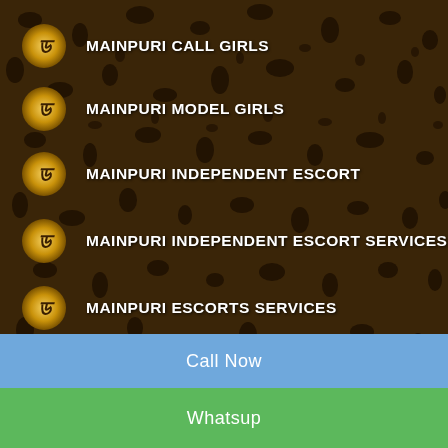MAINPURI CALL GIRLS
MAINPURI MODEL GIRLS
MAINPURI INDEPENDENT ESCORT
MAINPURI INDEPENDENT ESCORT SERVICES
MAINPURI ESCORTS SERVICES
ESCORTS IN MAINPURI
Call Now
Whatsup